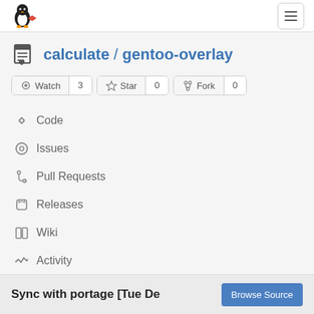[Figure (logo): Gitea penguin logo in top left navbar]
calculate / gentoo-overlay
Watch 3  Star 0  Fork 0
Code
Issues
Pull Requests
Releases
Wiki
Activity
Sync with portage [Tue De
Browse Source